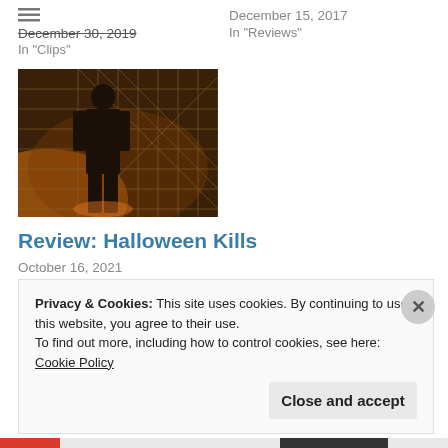December 30, 2019
In "Clips"
December 15, 2017
In "Reviews"
[Figure (photo): A dark figure (Michael Myers) standing near a chain-link fence in a dimly lit, orange-tinted scene from Halloween Kills]
Review: Halloween Kills
October 16, 2021
In "Reviews"
Privacy & Cookies: This site uses cookies. By continuing to use this website, you agree to their use.
To find out more, including how to control cookies, see here: Cookie Policy
Close and accept